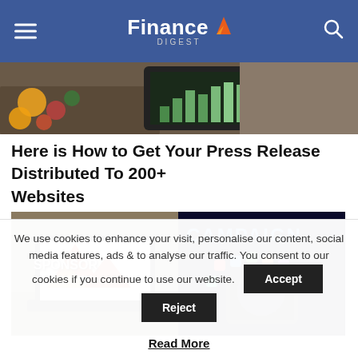Finance Digest
[Figure (photo): Partial view of a tablet showing a financial chart with green bars, surrounded by office/desk items]
Here is How to Get Your Press Release Distributed To 200+ Websites
[Figure (photo): Two images side by side: left shows a laptop with 'SPONSOR' on screen, right shows 'CAMPAIGN' text with colorful app icons floating from a smartphone]
We use cookies to enhance your visit, personalise our content, social media features, ads & to analyse our traffic. You consent to our cookies if you continue to use our website.
Read More